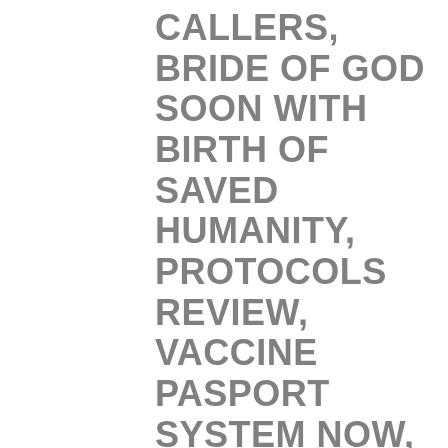CALLERS, BRIDE OF GOD SOON WITH BIRTH OF SAVED HUMANITY, PROTOCOLS REVIEW, VACCINE PASPORT SYSTEM NOW, ALEX JONES VIDEOS, CANADA CHINA ALLY NWO, VIDEOS DAVOS SWITZERLAND WEF NATO UN MARK OF BEAST GREEN KKKCKARBON TAX VACCINE PASSPORT